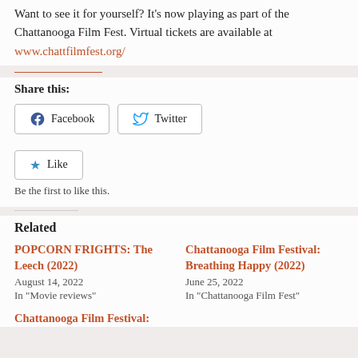Want to see it for yourself? It's now playing as part of the Chattanooga Film Fest. Virtual tickets are available at www.chattfilmfest.org/
Share this:
Facebook  Twitter
Like  Be the first to like this.
Related
POPCORN FRIGHTS: The Leech (2022)
August 14, 2022
In "Movie reviews"
Chattanooga Film Festival: Breathing Happy (2022)
June 25, 2022
In "Chattanooga Film Fest"
Chattanooga Film Festival: